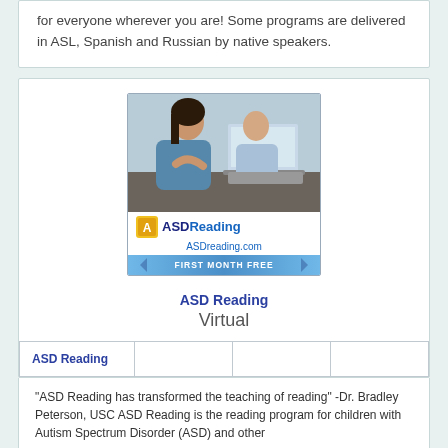for everyone wherever you are! Some programs are delivered in ASL, Spanish and Russian by native speakers.
[Figure (illustration): ASD Reading advertisement image showing a woman and child at a laptop, with ASD Reading logo, ASDreading.com URL, and 'FIRST MONTH FREE' banner]
ASD Reading
Virtual
| ASD Reading |  |  |  |
| --- | --- | --- | --- |
"ASD Reading has transformed the teaching of reading" -Dr. Bradley Peterson, USC ASD Reading is the reading program for children with Autism Spectrum Disorder (ASD) and other